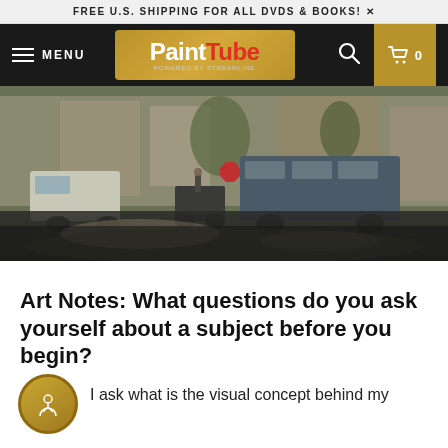FREE U.S. SHIPPING FOR ALL DVDS & BOOKS!
[Figure (logo): PaintTube powered by Streamline logo in navigation bar with hamburger menu, search icon, and cart]
[Figure (photo): Street scene painting showing urban road with vehicles including vans and motorcycles, buildings in background, impressionistic oil painting style]
Art Notes: What questions do you ask yourself about a subject before you begin?
I ask what is the visual concept behind my